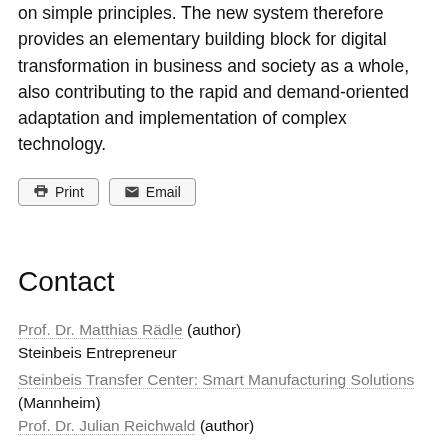on simple principles. The new system therefore provides an elementary building block for digital transformation in business and society as a whole, also contributing to the rapid and demand-oriented adaptation and implementation of complex technology.
[Figure (other): Print and Email buttons]
Contact
Prof. Dr. Matthias Rädle (author)
Steinbeis Entrepreneur
Steinbeis Transfer Center: Smart Manufacturing Solutions (Mannheim)
Prof. Dr. Julian Reichwald (author)